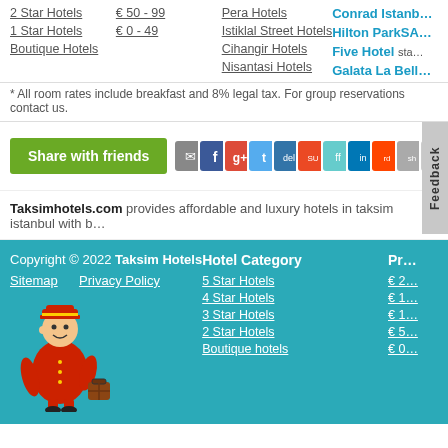2 Star Hotels | € 50 - 99 | Pera Hotels | Conrad Istanb...
1 Star Hotels | € 0 - 49 | Istiklal Street Hotels | Hilton ParkSA...
Boutique Hotels | Cihangir Hotels | Five Hotel sta...
Nisantasi Hotels | Galata La Bell...
* All room rates include breakfast and 8% legal tax. For group reservations contact us.
Share with friends
Taksimhotels.com provides affordable and luxury hotels in taksim istanbul with b...
Copyright © 2022 Taksim Hotels
Sitemap  Privacy Policy
Hotel Category
5 Star Hotels
4 Star Hotels
3 Star Hotels
2 Star Hotels
Boutique hotels
Pr...
€ 2...
€ 1...
€ 1...
€ 5...
€ 0...